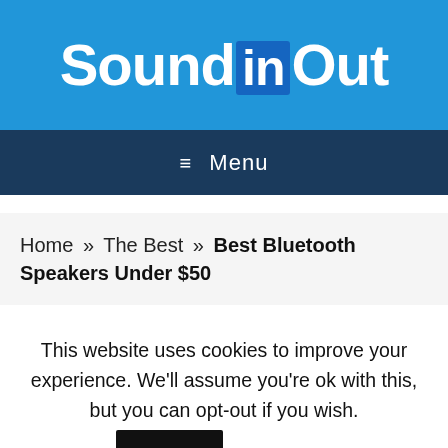SoundinOut
≡ Menu
Home » The Best » Best Bluetooth Speakers Under $50
This website uses cookies to improve your experience. We'll assume you're ok with this, but you can opt-out if you wish. Accept Read More